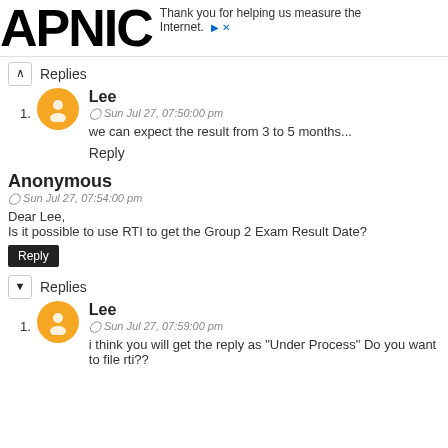APNIC — Thank you for helping us measure the Internet.
▼ Replies
1. Lee — Sun Jul 27, 07:50:00 pm — we can expect the result from 3 to 5 months...
Reply
Anonymous
Sun Jul 27, 07:54:00 pm
Dear Lee,
Is it possible to use RTI to get the Group 2 Exam Result Date?
Reply
▼ Replies
1. Lee — Sun Jul 27, 07:59:00 pm — i think you will get the reply as "Under Process" Do you want to file rti??